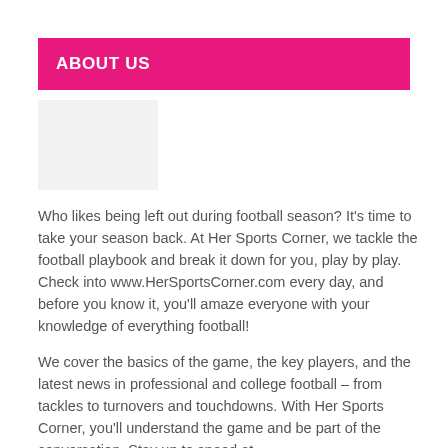ABOUT US
Who likes being left out during football season? It's time to take your season back. At Her Sports Corner, we tackle the football playbook and break it down for you, play by play. Check into www.HerSportsCorner.com every day, and before you know it, you'll amaze everyone with your knowledge of everything football!
We cover the basics of the game, the key players, and the latest news in professional and college football – from tackles to turnovers and touchdowns. With Her Sports Corner, you'll understand the game and be part of the conversation. Stay up to speed at www.HerSportsCorner.com!